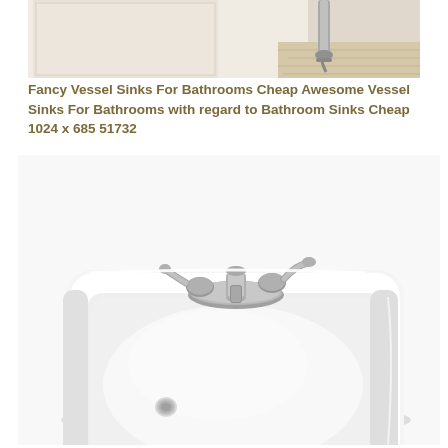[Figure (photo): Partial view of a bathroom with faucet/pipe visible against white wall and light wood floor]
Fancy Vessel Sinks For Bathrooms Cheap Awesome Vessel Sinks For Bathrooms with regard to Bathroom Sinks Cheap 1024 x 685 51732
[Figure (photo): White ceramic wall-mount bathroom sink with chrome two-handle faucet and small drain hole, photographed on white background]